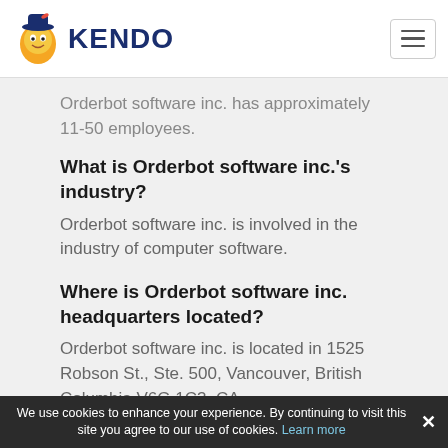KENDO
Orderbot software inc. has approximately 11-50 employees.
What is Orderbot software inc.'s industry?
Orderbot software inc. is involved in the industry of computer software.
Where is Orderbot software inc. headquarters located?
Orderbot software inc. is located in 1525 Robson St., Ste. 500, Vancouver, British Columbia V6G 1C3, CA
What is the website of Orderbot software inc.?
Orderbot software inc. official website at
We use cookies to enhance your experience. By continuing to visit this site you agree to our use of cookies. Learn more